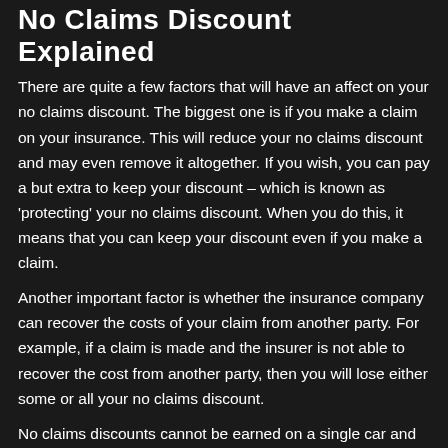No Claims Discount Explained
There are quite a few factors that will have an affect on your no claims discount. The biggest one is if you make a claim on your insurance. This will reduce your no claims discount and may even remove it altogether. If you wish, you can pay a but extra to keep your discount – which is known as 'protecting' your no claims discount. When you do this, it means that you can keep your discount even if you make a claim.
Another important factor is whether the insurance company can recover the costs of your claim from another party. For example, if a claim is made and the insurer is not able to recover the cost from another party, then you will lose either some or all your no claims discount.
No claims discounts cannot be earned on a single car and then split between two separate vehicles. In households with multiple vehicles, each vehicle with have its own